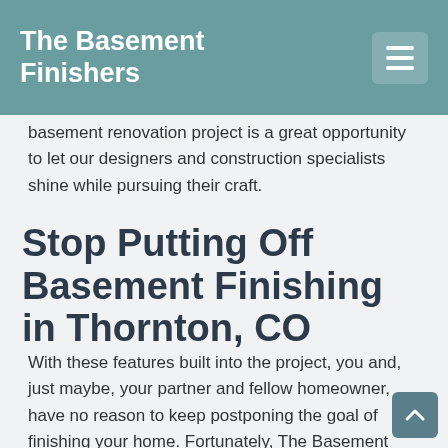The Basement Finishers
basement renovation project is a great opportunity to let our designers and construction specialists shine while pursuing their craft.
Stop Putting Off Basement Finishing in Thornton, CO
With these features built into the project, you and, just maybe, your partner and fellow homeowner, have no reason to keep postponing the goal of finishing your home. Fortunately, The Basement Finishers...